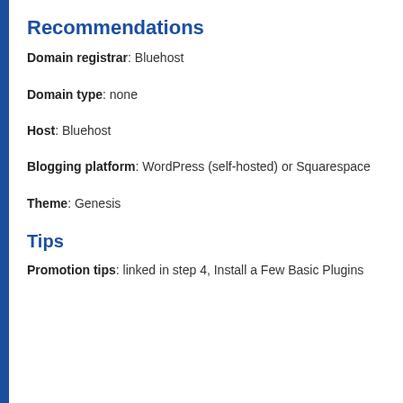Recommendations
Domain registrar: Bluehost
Domain type: none
Host: Bluehost
Blogging platform: WordPress (self-hosted) or Squarespace
Theme: Genesis
Tips
Promotion tips: linked in step 4, Install a Few Basic Plugins